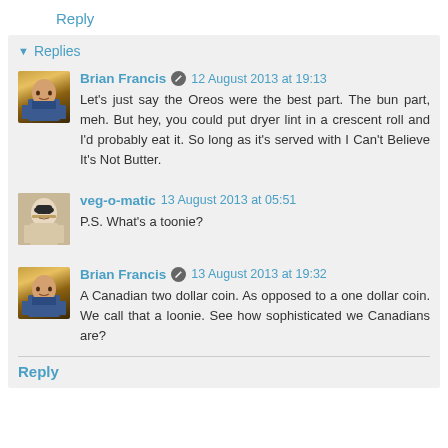Reply
▾ Replies
Brian Francis 12 August 2013 at 19:13
Let's just say the Oreos were the best part. The bun part, meh. But hey, you could put dryer lint in a crescent roll and I'd probably eat it. So long as it's served with I Can't Believe It's Not Butter.
veg-o-matic 13 August 2013 at 05:51
P.S. What's a toonie?
Brian Francis 13 August 2013 at 19:32
A Canadian two dollar coin. As opposed to a one dollar coin. We call that a loonie. See how sophisticated we Canadians are?
Reply